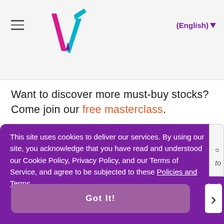[Figure (logo): Visa/Vote-style V logo in pink and teal/blue, navigation header with hamburger menu and English language selector]
Want to discover more must-buy stocks? Come join our free masterclass.
This site uses cookies to deliver our services. By using our site, you acknowledge that you have read and understood our Cookie Policy, Privacy Policy, and our Terms of Service, and agree to be subjected to these Policies and Terms.
Got It!